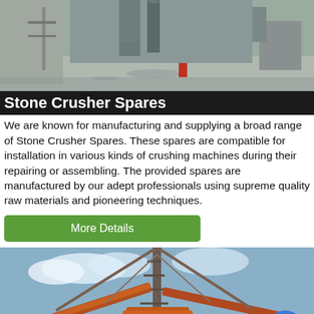[Figure (photo): Industrial crushing machine/equipment building exterior with metal structure and silos]
Stone Crusher Spares
We are known for manufacturing and supplying a broad range of Stone Crusher Spares. These spares are compatible for installation in various kinds of crushing machines during their repairing or assembling. The provided spares are manufactured by our adept professionals using supreme quality raw materials and pioneering techniques.
More Details
[Figure (photo): Large orange stone crusher machine/plant equipment outdoors against a blue sky]